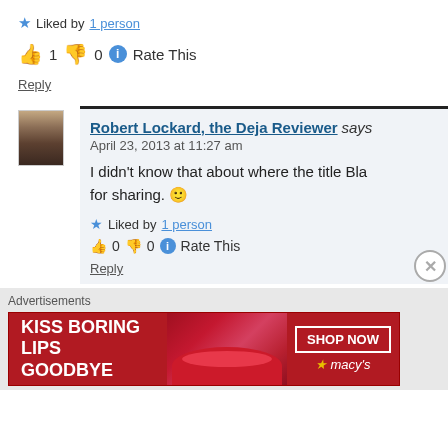★ Liked by 1 person
👍 1 👎 0 ℹ Rate This
Reply
Robert Lockard, the Deja Reviewer says
April 23, 2013 at 11:27 am
I didn't know that about where the title Bla for sharing. 🙂
★ Liked by 1 person
👍 0 👎 0 ℹ Rate This
Reply
Advertisements
[Figure (infographic): Macy's advertisement banner: KISS BORING LIPS GOODBYE with SHOP NOW button and Macy's logo]